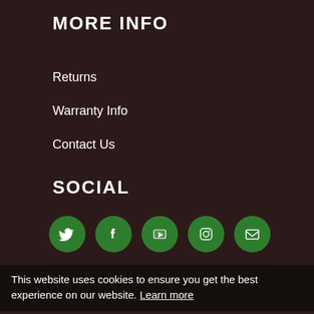MORE INFO
Returns
Warranty Info
Contact Us
SOCIAL
[Figure (infographic): Five green circular social media icons: Twitter, Facebook, YouTube, Instagram, Email]
© 2022 Complete Target Solutions. All Rights Reserved.
This website uses cookies to ensure you get the best experience on our website. Learn more